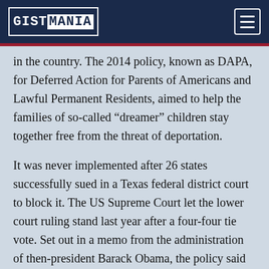GISTMANIA
in the country. The 2014 policy, known as DAPA, for Deferred Action for Parents of Americans and Lawful Permanent Residents, aimed to help the families of so-called “dreamer” children stay together free from the threat of deportation.
It was never implemented after 26 states successfully sued in a Texas federal district court to block it. The US Supreme Court let the lower court ruling stand last year after a four-four tie vote. Set out in a memo from the administration of then-president Barack Obama, the policy said the government